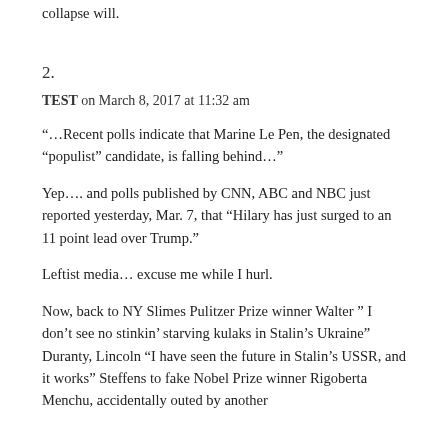collapse will.
2.
TEST on March 8, 2017 at 11:32 am
“…Recent polls indicate that Marine Le Pen, the designated “populist” candidate, is falling behind…”
Yep…. and polls published by CNN, ABC and NBC just reported yesterday, Mar. 7, that “Hilary has just surged to an 11 point lead over Trump.”
Leftist media… excuse me while I hurl.
Now, back to NY Slimes Pulitzer Prize winner Walter ” I don’t see no stinkin’ starving kulaks in Stalin’s Ukraine” Duranty, Lincoln “I have seen the future in Stalin’s USSR, and it works” Steffens to fake Nobel Prize winner Rigoberta Menchu, accidentally outed by another